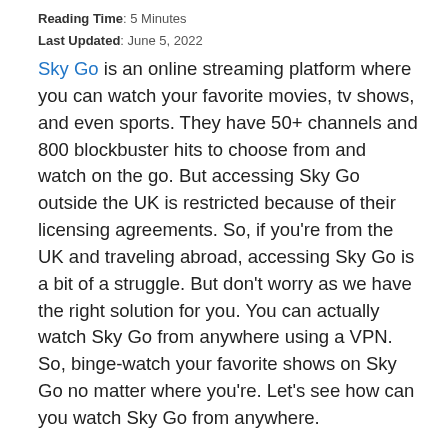Reading Time: 5 Minutes
Last Updated: June 5, 2022
Sky Go is an online streaming platform where you can watch your favorite movies, tv shows, and even sports. They have 50+ channels and 800 blockbuster hits to choose from and watch on the go. But accessing Sky Go outside the UK is restricted because of their licensing agreements. So, if you're from the UK and traveling abroad, accessing Sky Go is a bit of a struggle. But don't worry as we have the right solution for you. You can actually watch Sky Go from anywhere using a VPN. So, binge-watch your favorite shows on Sky Go no matter where you're. Let's see how can you watch Sky Go from anywhere.
How to Watch Sky Go From Anywhere in 3